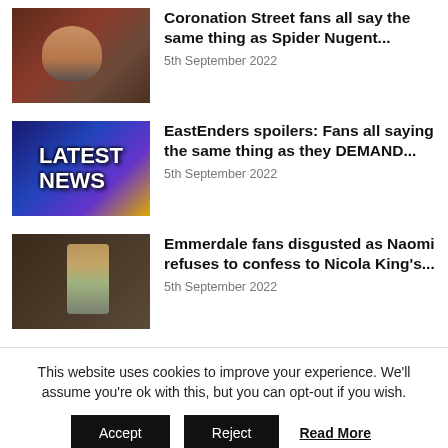[Figure (photo): Thumbnail image of a man in a red top, indoor setting with dim lighting]
Coronation Street fans all say the same thing as Spider Nugent...
5th September 2022
[Figure (photo): LATEST NEWS graphic with blue and yellow gradient background and bold white text]
EastEnders spoilers: Fans all saying the same thing as they DEMAND...
5th September 2022
[Figure (photo): Thumbnail of a woman in a light green top standing in a dim indoor setting]
Emmerdale fans disgusted as Naomi refuses to confess to Nicola King's...
5th September 2022
This website uses cookies to improve your experience. We'll assume you're ok with this, but you can opt-out if you wish.